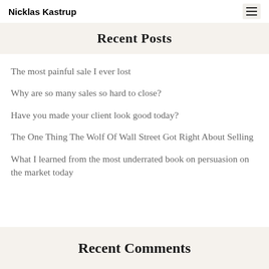Nicklas Kastrup
Recent Posts
The most painful sale I ever lost
Why are so many sales so hard to close?
Have you made your client look good today?
The One Thing The Wolf Of Wall Street Got Right About Selling
What I learned from the most underrated book on persuasion on the market today
Recent Comments